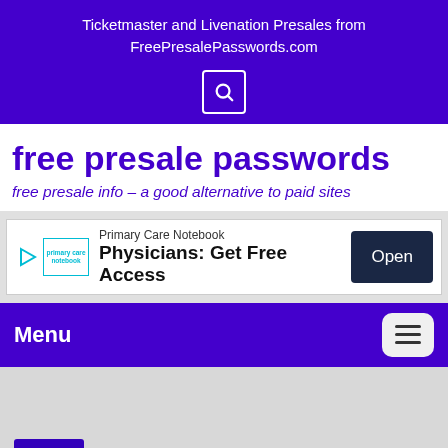Ticketmaster and Livenation Presales from FreePresalePasswords.com
free presale passwords
free presale info – a good alternative to paid sites
[Figure (screenshot): Advertisement banner for Primary Care Notebook: 'Physicians: Get Free Access' with an Open button]
Menu